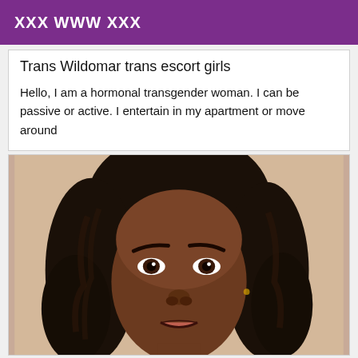XXX WWW XXX
Trans Wildomar trans escort girls
Hello, I am a hormonal transgender woman. I can be passive or active. I entertain in my apartment or move around
[Figure (photo): Close-up portrait photo of a transgender woman with long dark curly hair, brown skin, and defined eyebrows, looking at the camera against a light beige background.]